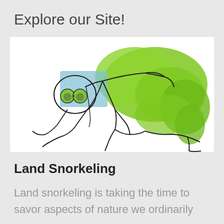Explore our Site!
[Figure (illustration): A whimsical line drawing of a person in a snorkeling pose on land, with green watercolor paint forming a large arched shape over the figure's back (representing the snorkel/sea), and a blue watercolor rectangle near the head. The figure has green goggles and is on hands and knees, looking downward.]
Land Snorkeling
Land snorkeling is taking the time to savor aspects of nature we ordinarily